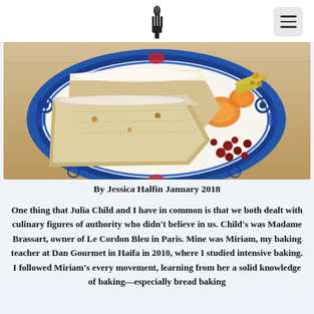[Logo: raised fist / torch icon]
[Figure (photo): Overhead photo of slices of pound cake dusted with powdered sugar on a decorative blue and white Polish pottery plate, accompanied by dried apricots, cranberries, and other dried fruits on a wooden surface.]
By Jessica Halfin January 2018
One thing that Julia Child and I have in common is that we both dealt with culinary figures of authority who didn't believe in us. Child's was Madame Brassart, owner of Le Cordon Bleu in Paris. Mine was Miriam, my baking teacher at Dan Gourmet in Haifa in 2010, where I studied intensive baking. I followed Miriam's every movement, learning from her a solid knowledge of baking—especially bread baking